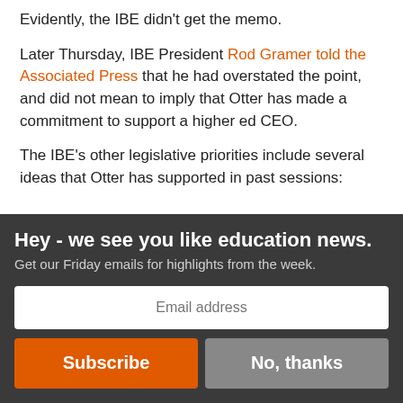Evidently, the IBE didn't get the memo.
Later Thursday, IBE President Rod Gramer told the Associated Press that he had overstated the point, and did not mean to imply that Otter has made a commitment to support a higher ed CEO.
The IBE's other legislative priorities include several ideas that Otter has supported in past sessions:
Hey - we see you like education news.
Get our Friday emails for highlights from the week.